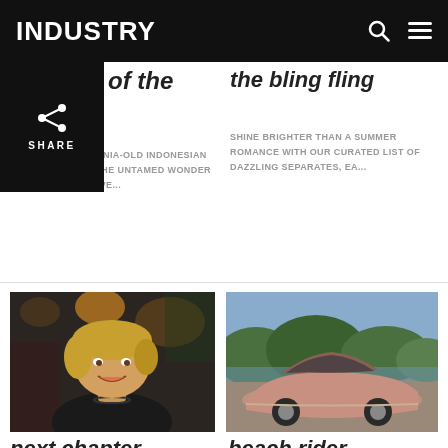INDUSTRY
of the
the bling fling
FROM THE MILLENNIA-OLD INDONESIAN RAINFOREST TO THE UNTAMED WONDER OF THE AMAZON, VE...
SHINE BRIGHTER THAN A SUMMER ROMANCE WITH OUR CURATED LIST OF DAZZLING SEPARATES, EA...
[Figure (photo): Portrait of a middle-aged blonde woman smiling, wearing a black t-shirt with graphic print, in a colorful indoor venue]
[Figure (photo): A luxury concept car (pinkish/beige exterior) parked by a lake with lush trees and hills in background]
next chapter
beach rider